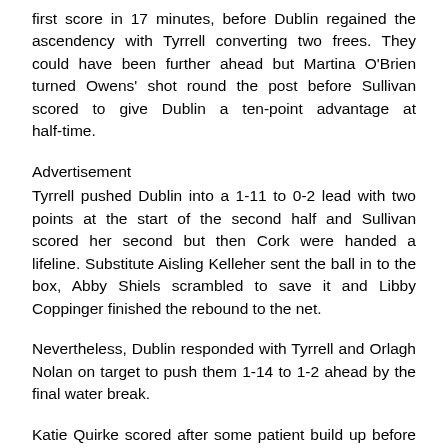first score in 17 minutes, before Dublin regained the ascendency with Tyrrell converting two frees. They could have been further ahead but Martina O'Brien turned Owens' shot round the post before Sullivan scored to give Dublin a ten-point advantage at half-time.
Advertisement
Tyrrell pushed Dublin into a 1-11 to 0-2 lead with two points at the start of the second half and Sullivan scored her second but then Cork were handed a lifeline. Substitute Aisling Kelleher sent the ball in to the box, Abby Shiels scrambled to save it and Libby Coppinger finished the rebound to the net.
Nevertheless, Dublin responded with Tyrrell and Orlagh Nolan on target to push them 1-14 to 1-2 ahead by the final water break.
Katie Quirke scored after some patient build up before Cork's second goal, when O'Sullivan slipped the ball past Shiels to reduce the gap to eight points, but Dublin weren't finished yet.